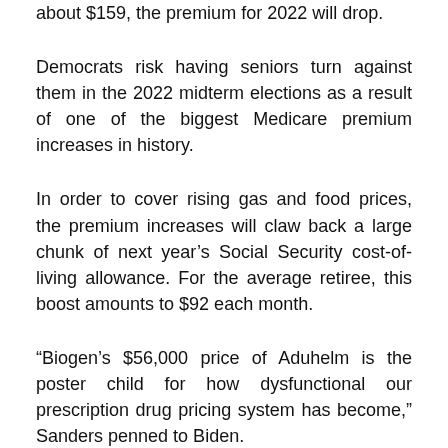about $159, the premium for 2022 will drop.
Democrats risk having seniors turn against them in the 2022 midterm elections as a result of one of the biggest Medicare premium increases in history.
In order to cover rising gas and food prices, the premium increases will claw back a large chunk of next year’s Social Security cost-of-living allowance. For the average retiree, this boost amounts to $92 each month.
“Biogen’s $56,000 price of Aduhelm is the poster child for how dysfunctional our prescription drug pricing system has become,” Sanders penned to Biden.
“The notion that one pharmaceutical company can raise the price of one drug so much that it could negatively impact 57 million senior citizens and the future of Medicare is beyond